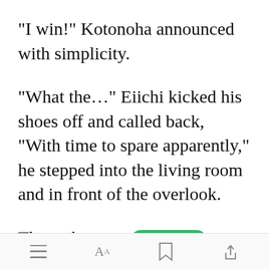"I win!" Kotonoha announced with simplicity.
"What the..." Eiichi kicked his shoes off and called back, "With time to spare apparently," he stepped into the living room and in front of the overlook.
There she was, apron over her uniform, kitchen knife in hand and
[Figure (screenshot): Mobile app toolbar with menu, font, bookmark, and share icons at the bottom of the screen. An 'Open in app' green button overlay appears in the middle of the last paragraph.]